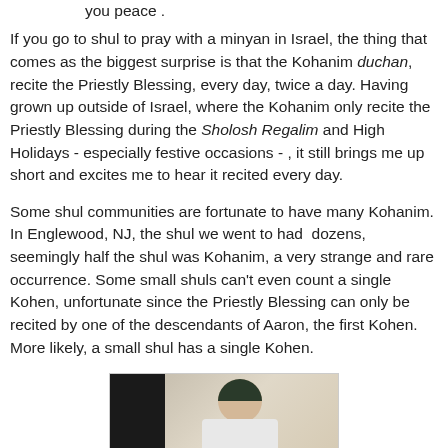you peace .
If you go to shul to pray with a minyan in Israel, the thing that comes as the biggest surprise is that the Kohanim duchan, recite the Priestly Blessing, every day, twice a day. Having grown up outside of Israel, where the Kohanim only recite the Priestly Blessing during the Sholosh Regalim and High Holidays - especially festive occasions - , it still brings me up short and excites me to hear it recited every day.
Some shul communities are fortunate to have many Kohanim. In Englewood, NJ, the shul we went to had dozens, seemingly half the shul was Kohanim, a very strange and rare occurrence. Some small shuls can't even count a single Kohen, unfortunate since the Priestly Blessing can only be recited by one of the descendants of Aaron, the first Kohen. More likely, a small shul has a single Kohen.
[Figure (photo): An elderly man wearing a dark kippah and white shirt, photographed indoors. A dark-clothed figure is partially visible on the left.]